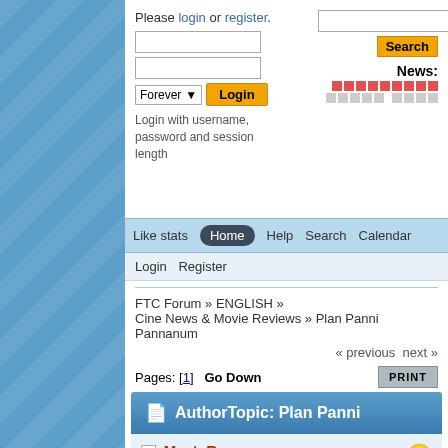Please login or register.
Forever  Login
Login with username, password and session length
News:
Like stats  Home  Help  Search  Calendar
Login  Register
FTC Forum » ENGLISH » Cine News & Movie Reviews » Plan Panni Pannanum
« previous  next »
Pages: [1]  Go Down  PRINT
AuthorTopic: Plan Panni
MysteRy
Global Moderator
Classic Member
Plan
Panni